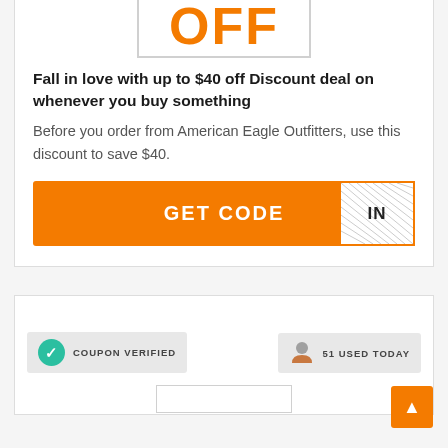[Figure (other): Large orange OFF text partially visible at top of coupon card]
Fall in love with up to $40 off Discount deal on whenever you buy something
Before you order from American Eagle Outfitters, use this discount to save $40.
[Figure (other): Orange GET CODE button with a hatched white reveal box showing 'IN' on the right side]
[Figure (other): Bottom coupon card section with COUPON VERIFIED badge on the left and 51 USED TODAY badge on the right, plus a scroll-to-top orange button and a white inner preview box]